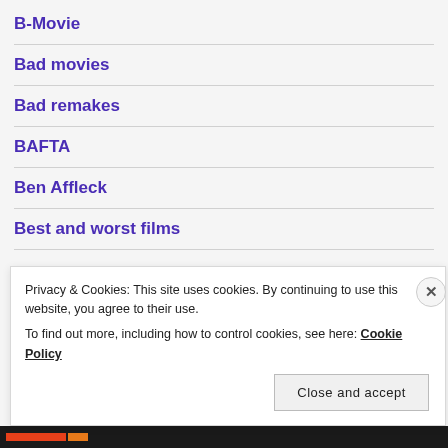B-Movie
Bad movies
Bad remakes
BAFTA
Ben Affleck
Best and worst films
Privacy & Cookies: This site uses cookies. By continuing to use this website, you agree to their use. To find out more, including how to control cookies, see here: Cookie Policy